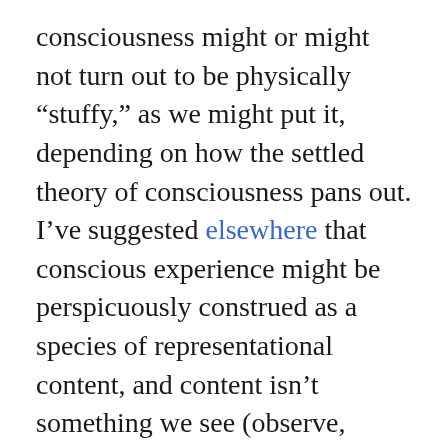consciousness might or might not turn out to be physically “stuffy,” as we might put it, depending on how the settled theory of consciousness pans out. I’ve suggested elsewhere that conscious experience might be perspicuously construed as a species of representational content, and content isn’t something we see (observe, measure) out in the world as represented in terms of that content. Whether and how content gets naturalized, perhaps as a representational, not straightforwardly physical, phenomenon, is a philo-scientific research project now under way that might have an